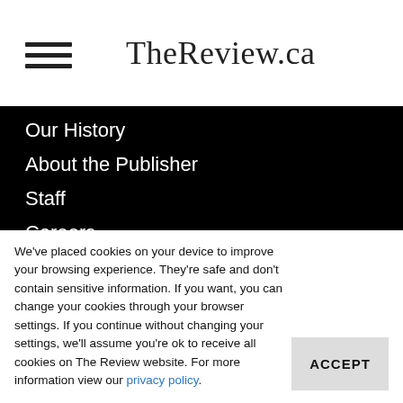TheReview.ca
Our History
About the Publisher
Staff
Careers
Services
Place an Ad
We've placed cookies on your device to improve your browsing experience. They're safe and don't contain sensitive information. If you want, you can change your cookies through your browser settings. If you continue without changing your settings, we'll assume you're ok to receive all cookies on The Review website. For more information view our privacy policy.